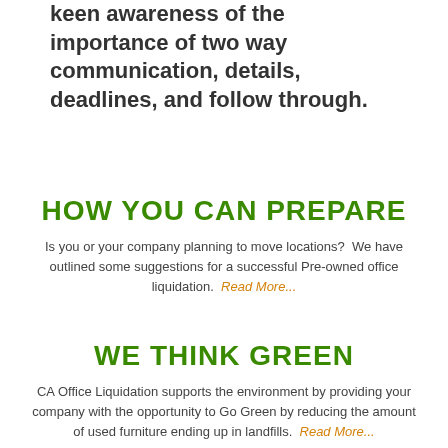keen awareness of the importance of two way communication, details, deadlines, and follow through.
HOW YOU CAN PREPARE
Is you or your company planning to move locations?  We have outlined some suggestions for a successful Pre-owned office liquidation.  Read More...
WE THINK GREEN
CA Office Liquidation supports the environment by providing your company with the opportunity to Go Green by reducing the amount of used furniture ending up in landfills.  Read More...